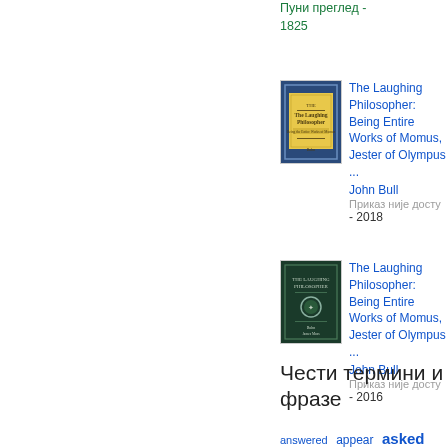Пуни преглед - 1825
[Figure (photo): Book cover of The Laughing Philosopher (yellow cover with blue border)]
The Laughing Philosopher: Being Entire Works of Momus, Jester of Olympus ...
John Bull
Приказ није досту - 2018
[Figure (photo): Book cover of The Laughing Philosopher (dark green cover)]
The Laughing Philosopher: Being Entire Works of Momus, Jester of Olympus ...
John Bull
Приказ није досту - 2016
Чести термини и фразе
answered  appear  asked